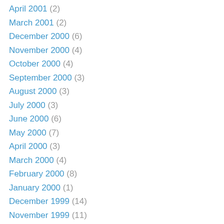April 2001 (2)
March 2001 (2)
December 2000 (6)
November 2000 (4)
October 2000 (4)
September 2000 (3)
August 2000 (3)
July 2000 (3)
June 2000 (6)
May 2000 (7)
April 2000 (3)
March 2000 (4)
February 2000 (8)
January 2000 (1)
December 1999 (14)
November 1999 (11)
October 1999 (9)
September 1999 (3)
August 1999 (11)
July 1999 (7)